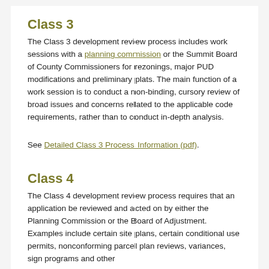Class 3
The Class 3 development review process includes work sessions with a planning commission or the Summit Board of County Commissioners for rezonings, major PUD modifications and preliminary plats. The main function of a work session is to conduct a non-binding, cursory review of broad issues and concerns related to the applicable code requirements, rather than to conduct in-depth analysis.
See Detailed Class 3 Process Information (pdf).
Class 4
The Class 4 development review process requires that an application be reviewed and acted on by either the Planning Commission or the Board of Adjustment. Examples include certain site plans, certain conditional use permits, nonconforming parcel plan reviews, variances, sign programs and other